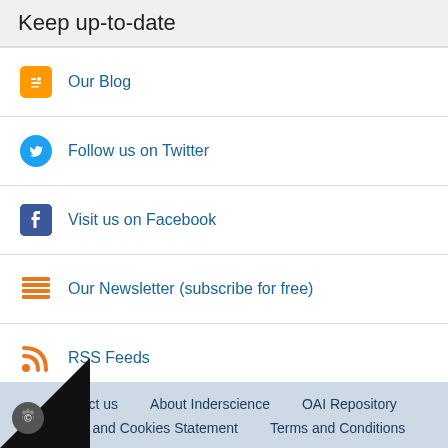Keep up-to-date
Our Blog
Follow us on Twitter
Visit us on Facebook
Our Newsletter (subscribe for free)
RSS Feeds
New issue alerts
Return to top
Contact us   About Inderscience   OAI Repository   Privacy and Cookies Statement   Terms and Conditions